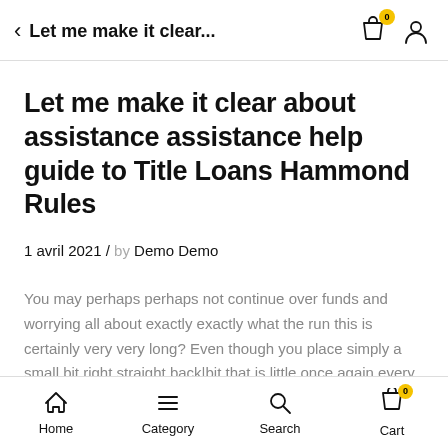Let me make it clear...
Let me make it clear about assistance assistance help guide to Title Loans Hammond Rules
1 avril 2021 / by Demo Demo
You may perhaps perhaps not continue over funds and worrying all about exactly exactly what the run this is certainly very very long? Even though you place simply a small bit right straight back|bit that is little once again every
Home  Category  Search  Cart